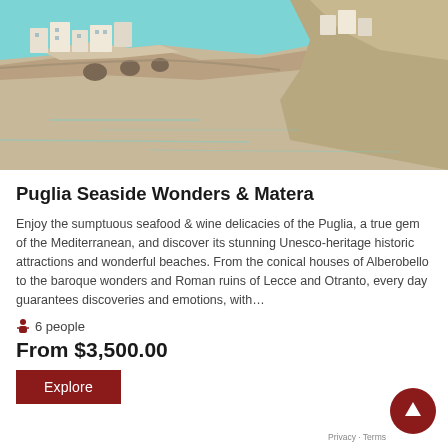[Figure (photo): Coastal cliffs with white buildings overlooking turquoise Mediterranean water in Puglia, Italy]
Puglia Seaside Wonders & Matera
Enjoy the sumptuous seafood & wine delacies of the Puglia, a true gem of the Mediterranean, and discover its stunning Unesco-heritage historic attractions and wonderful beaches. From the conical houses of Alberobello to the baroque wonders and Roman ruins of Lecce and Otranto, every day guarantees discoveries and emotions, with…
6 people
From $3,500.00
Explore